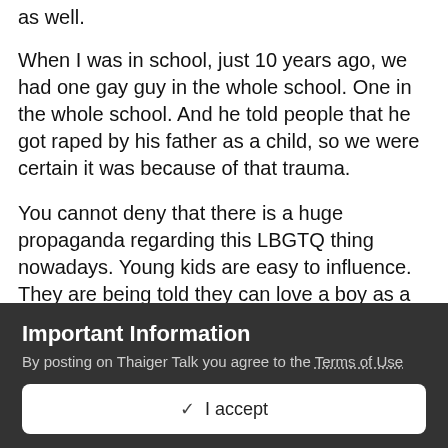as well.
When I was in school, just 10 years ago, we had one gay guy in the whole school. One in the whole school. And he told people that he got raped by his father as a child, so we were certain it was because of that trauma.
You cannot deny that there is a huge propaganda regarding this LBGTQ thing nowadays. Young kids are easy to influence. They are being told they can love a boy as a boy, or that they could be a girl in the body of a girl. And then a seed is planted and things will develop in a way, that would've never went this way.
So I disagree with you and claim, all this publicity about
Important Information
By posting on Thaiger Talk you agree to the Terms of Use
✓  I accept